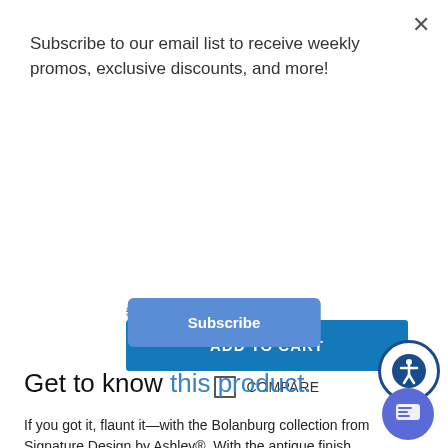Subscribe to our email list to receive weekly promos, exclusive discounts, and more!
Subscribe
ADD TO CART
COMPARE
Get to know this product.
If you got it, flaunt it—with the Bolanburg collection from Signature Design by Ashley®. With the antique finish,